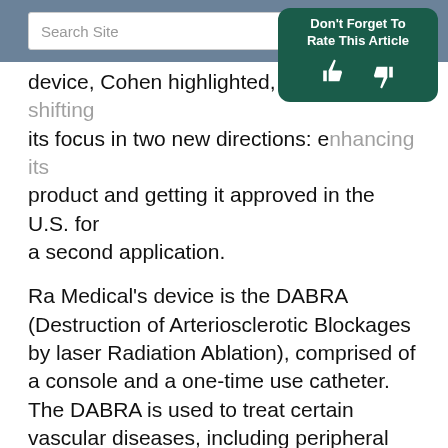Search Site [search bar] | Don't Forget To Rate This Article [thumbs up/down]
device, Cohen highlighted, Ra Medical is shifting its focus in two new directions: enhancing its product and getting it approved in the U.S. for a second application.
Ra Medical's device is the DABRA (Destruction of Arteriosclerotic Blockages by laser Radiation Ablation), comprised of a console and a one-time use catheter. The DABRA is used to treat certain vascular diseases, including peripheral artery disease, which affects about 8.5 million Americans.
Currently, the DABRA is only approved in the